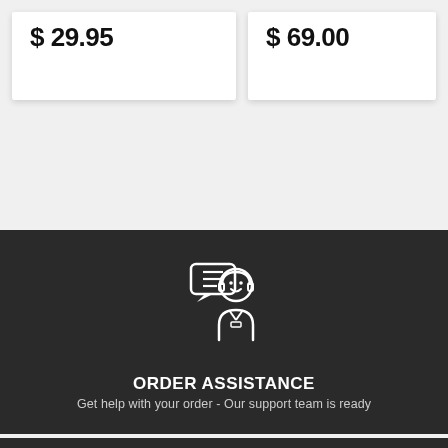$ 29.95
$ 69.00
[Figure (illustration): White icon of a customer support agent with headset and speech bubble on dark background]
ORDER ASSISTANCE
Get help with your order - Our support team is ready
[Figure (illustration): White icon of an envelope and a delivery/package icon on dark background]